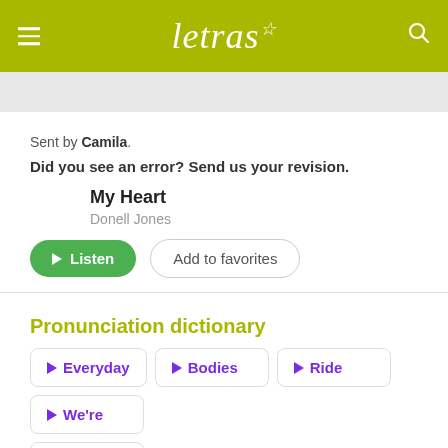letras
Sent by Camila.
Did you see an error? Send us your revision.
My Heart
Donell Jones
Pronunciation dictionary
Everyday
Bodies
Ride
We're
Crew